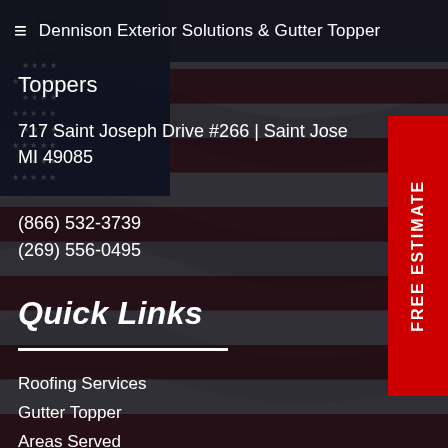≡ Dennison Exterior Solutions & Gutter Topper
Toppers
717 Saint Joseph Drive #266 | Saint Joseph, MI 49085
(866) 532-3739
(269) 556-0495
Quick Links
Roofing Services
Gutter Topper
Areas Served
Recent Projects